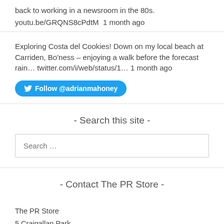back to working in a newsroom in the 80s. youtu.be/GRQNS8cPdtM 1 month ago
Exploring Costa del Cookies! Down on my local beach at Carriden, Bo'ness – enjoying a walk before the forecast rain... twitter.com/i/web/status/1... 1 month ago
Follow @adrianmahoney
- Search this site -
Search ...
- Contact The PR Store -
The PR Store
5 Craigallan Park
Bo'ness